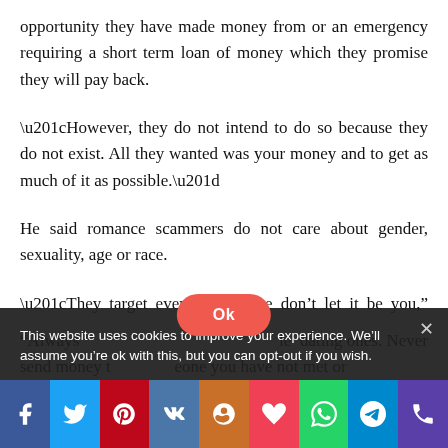opportunity they have made money from or an emergency requiring a short term loan of money which they promise they will pay back.
“However, they do not intend to do so because they do not exist. All they wanted was your money and to get as much of it as possible.”
He said romance scammers do not care about gender, sexuality, age or race.
“They target everyone, please don’t let it be you,” added Supt Pollock.
“Always [text partially obscured] le dating ones. Never send money t[text partially obscured] eone you have not met or
This website uses cookies to improve your experience. We’ll assume you’re ok with this, but you can opt-out if you wish.